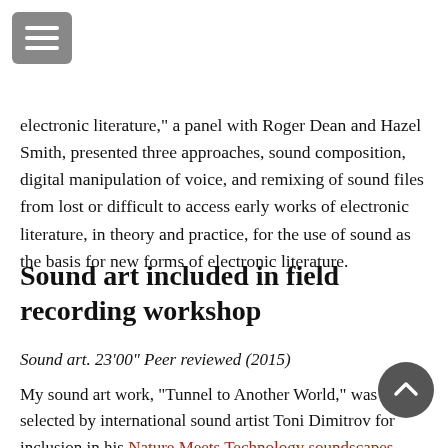[Figure (other): Hamburger menu button (three horizontal white lines on grey rounded square background)]
electronic literature," a panel with Roger Dean and Hazel Smith, presented three approaches, sound composition, digital manipulation of voice, and remixing of sound files from lost or difficult to access early works of electronic literature, in theory and practice, for the use of sound as the basis for new forms of electronic literature.
Sound art included in field recording workshop
Sound art. 23'00" Peer reviewed (2015)
My sound art work, "Tunnel to Another World," was selected by international sound artist Toni Dimitrov for inclusion in his Nature Meets Technology soundscapes